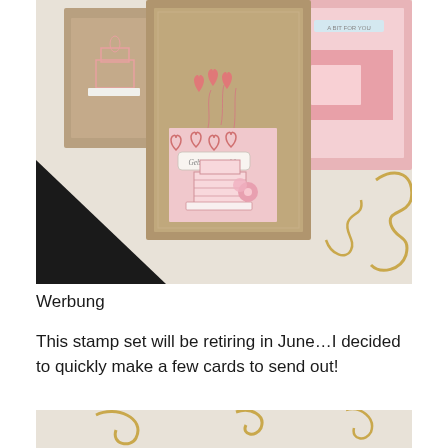[Figure (photo): A photo showing handmade greeting cards with pink heart and cake designs on kraft/tan paper, arranged on a white linen tablecloth with gold decorative pattern. One card prominently displays 'Geburtstagsgüße' text with pink hearts and a flower embellishment.]
Werbung
This stamp set will be retiring in June…I decided to quickly make a few cards to send out!
[Figure (photo): Bottom portion of the same linen tablecloth with gold decorative pattern, partially visible.]